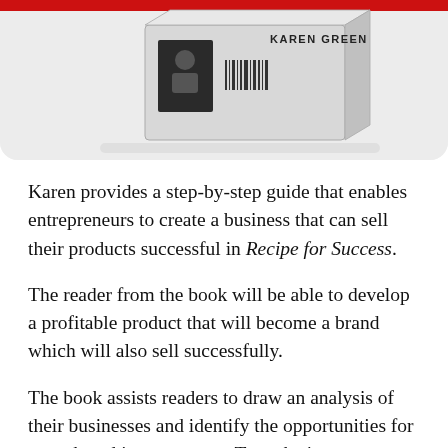[Figure (photo): Book cover image showing a product box with 'KAREN GREEN' text, displayed against a light gray rounded-corner background with a red top border]
Karen provides a step-by-step guide that enables entrepreneurs to create a business that can sell their products successful in Recipe for Success.
The reader from the book will be able to develop a profitable product that will become a brand which will also sell successfully.
The book assists readers to draw an analysis of their businesses and identify the opportunities for growth and improvement. To make it more